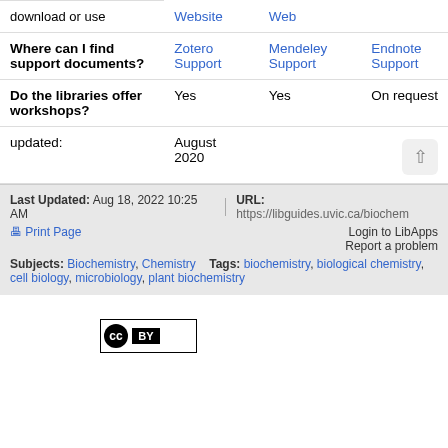|  | Zotero | Mendeley | Endnote |
| --- | --- | --- | --- |
| download or use | Website | Web |  |
| Where can I find support documents? | Zotero Support | Mendeley Support | Endnote Support |
| Do the libraries offer workshops? | Yes | Yes | On request |
| updated: | August 2020 |  |  |
Last Updated: Aug 18, 2022 10:25 AM | URL: https://libguides.uvic.ca/biochem
Print Page | Login to LibApps | Report a problem
Subjects: Biochemistry, Chemistry  Tags: biochemistry, biological chemistry, cell biology, microbiology, plant biochemistry
[Figure (logo): Creative Commons CC BY license badge]